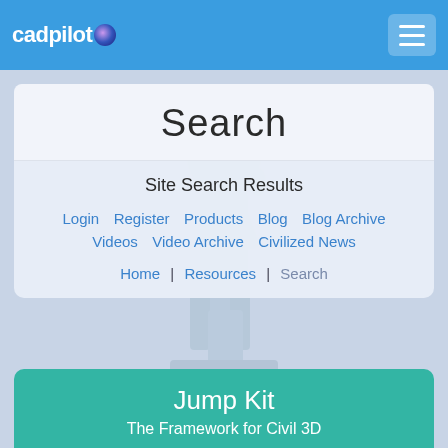cadpilot
Search
Site Search Results
Login   Register   Products   Blog   Blog Archive   Videos   Video Archive   Civilized News
Home | Resources | Search
Jump Kit
The Framework for Civil 3D